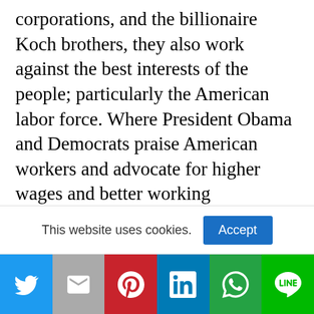corporations, and the billionaire Koch brothers, they also work against the best interests of the people; particularly the American labor force. Where President Obama and Democrats praise American workers and advocate for higher wages and better working conditions, Republicans have been on a crusade to portray American labor as entitled, inherently lazy, unproductive, and a drag on corporate profits. For the past five years, Republicans have systematically killed Americans' jobs and kept America's hard-working and highly-productive labor force on the losing end of the
This website uses cookies.
Twitter | Mail | Pinterest | LinkedIn | WhatsApp | Line